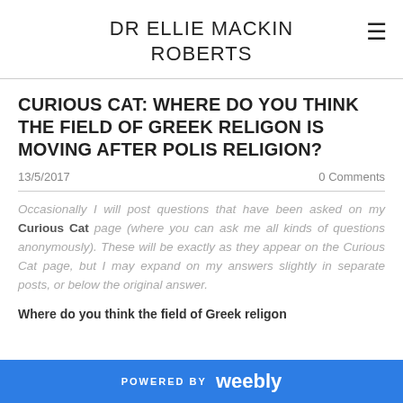DR ELLIE MACKIN ROBERTS
CURIOUS CAT: WHERE DO YOU THINK THE FIELD OF GREEK RELIGON IS MOVING AFTER POLIS RELIGION?
13/5/2017    0 Comments
Occasionally I will post questions that have been asked on my Curious Cat page (where you can ask me all kinds of questions anonymously). These will be exactly as they appear on the Curious Cat page, but I may expand on my answers slightly in separate posts, or below the original answer.
Where do you think the field of Greek religon
POWERED BY weebly